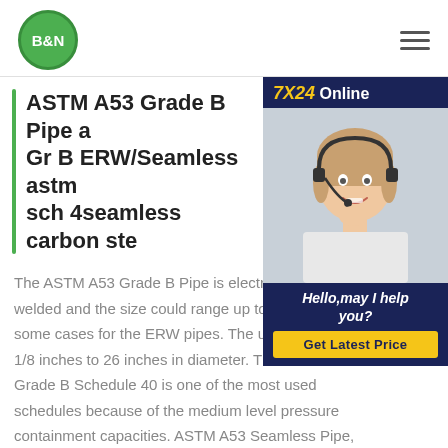B&N
ASTM A53 Grade B Pipe a Gr B ERW/Seamless astm sch 4seamless carbon ste
[Figure (photo): Customer service representative wearing headset, smiling. Sidebar with '7X24 Online' header, photo, 'Hello, may I help you?' text and 'Get Latest Price' button.]
The ASTM A53 Grade B Pipe is electri welded and the size could range up to some cases for the ERW pipes. The us 1/8 inches to 26 inches in diameter. Th Grade B Schedule 40 is one of the most used schedules because of the medium level pressure containment capacities. ASTM A53 Seamless Pipe, BE, SCH 40, 12 Inch